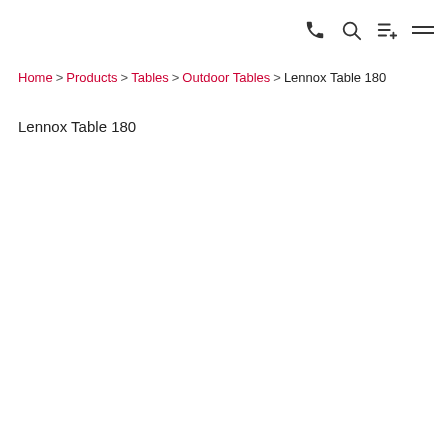Navigation icons: phone, search, list-add, menu
Home > Products > Tables > Outdoor Tables > Lennox Table 180
Lennox Table 180